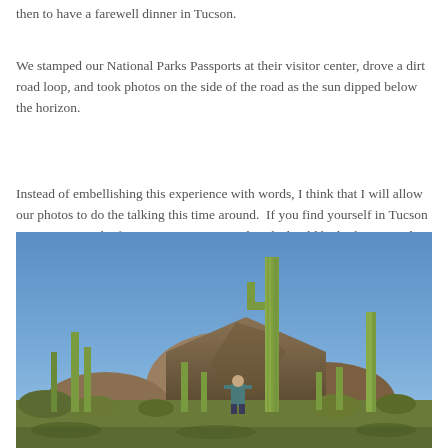then to have a farewell dinner in Tucson.
We stamped our National Parks Passports at their visitor center, drove a dirt road loop, and took photos on the side of the road as the sun dipped below the horizon.
Instead of embellishing this experience with words, I think that I will allow our photos to do the talking this time around.  If you find yourself in Tucson at any point in the future, Saguaro National Park should be high on your list of things to experience.
[Figure (photo): Person standing among tall saguaro cacti with rocky desert hills in the background under a clear blue sky at Saguaro National Park near Tucson, Arizona.]